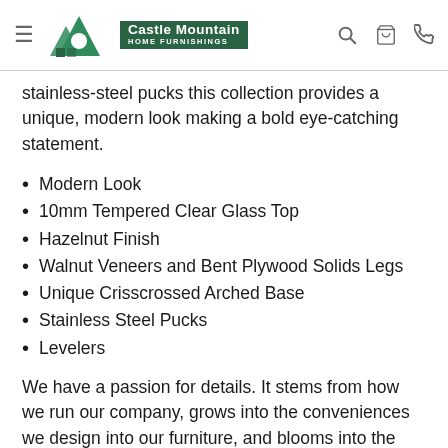Castle Mountain HOME FURNISHINGS
stainless-steel pucks this collection provides a unique, modern look making a bold eye-catching statement.
Modern Look
10mm Tempered Clear Glass Top
Hazelnut Finish
Walnut Veneers and Bent Plywood Solids Legs
Unique Crisscrossed Arched Base
Stainless Steel Pucks
Levelers
We have a passion for details. It stems from how we run our company, grows into the conveniences we design into our furniture, and blooms into the relationships we build with our valued dealers. We design every piece of furniture